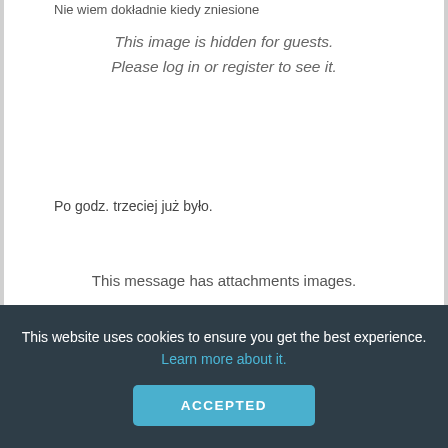Nie wiem dokładnie kiedy zniesione
[Figure (other): Hidden image placeholder with italic text: 'This image is hidden for guests. Please log in or register to see it.']
Po godz. trzeciej już było.
This message has attachments images.
This website uses cookies to ensure you get the best experience. Learn more about it.
ACCEPTED